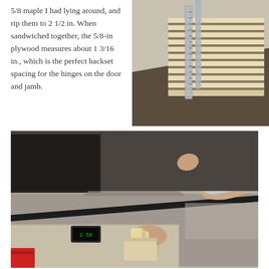5/8 maple I had lying around, and rip them to 2 1/2 in. When sandwiched together, the 5/8-in plywood measures about 1 3/16 in., which is the perfect backset spacing for the hinges on the door and jamb.
[Figure (photo): Close-up photo of stacked plywood sheets with a metal ruler or square measuring their thickness, showing layered wood edges on a workbench.]
[Figure (photo): Photo of a person's hands using a table saw to rip wood pieces, with the saw blade visible and sawdust on the table surface.]